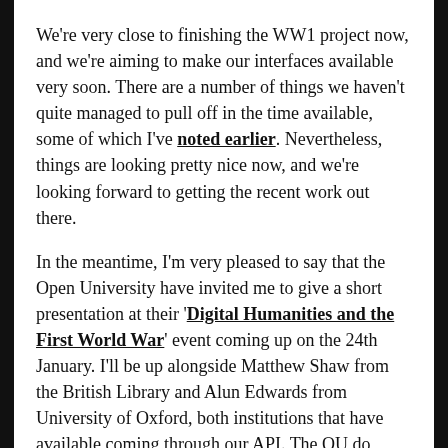We're very close to finishing the WW1 project now, and we're aiming to make our interfaces available very soon. There are a number of things we haven't quite managed to pull off in the time available, some of which I've noted earlier. Nevertheless, things are looking pretty nice now, and we're looking forward to getting the recent work out there.
In the meantime, I'm very pleased to say that the Open University have invited me to give a short presentation at their 'Digital Humanities and the First World War' event coming up on the 24th January. I'll be up alongside Matthew Shaw from the British Library and Alun Edwards from University of Oxford, both institutions that have available coming through our API. The OU do some great work in this area, so I'm looking forward to a good one.
Update – 25th January 2013
I gave this talk yesterday and it seemed to go well I think.